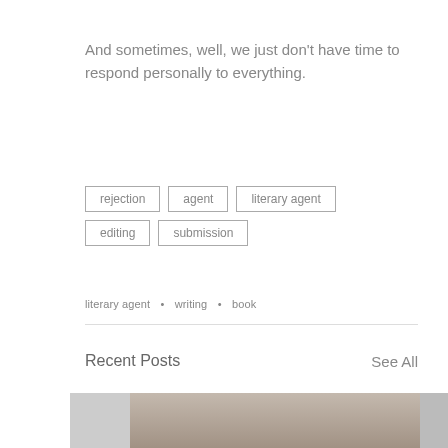And sometimes, well, we just don't have time to respond personally to everything.
rejection
agent
literary agent
editing
submission
literary agent  •  writing  •  book
Recent Posts
See All
[Figure (photo): Photo strip showing a person, partially visible, used as a blog post thumbnail]